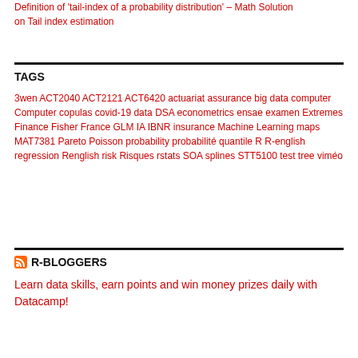Definition of 'tail-index of a probability distribution' – Math Solution on Tail index estimation
TAGS
3wen ACT2040 ACT2121 ACT6420 actuariat assurance big data computer Computer copulas covid-19 data DSA econometrics ensae examen Extremes Finance Fisher France GLM IA IBNR insurance Machine Learning maps MAT7381 Pareto Poisson probability probabilité quantile R R-english regression Renglish risk Risques rstats SOA splines STT5100 test tree viméo
R-BLOGGERS
Learn data skills, earn points and win money prizes daily with Datacamp!